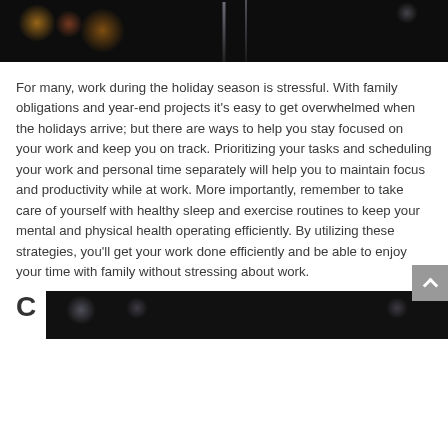[Figure (photo): Dark background photo with bokeh lights and what appears to be decorative holiday string lights]
For many, work during the holiday season is stressful. With family obligations and year-end projects it's easy to get overwhelmed when the holidays arrive; but there are ways to help you stay focused on your work and keep you on track. Prioritizing your tasks and scheduling your work and personal time separately will help you to maintain focus and productivity while at work. More importantly, remember to take care of yourself with healthy sleep and exercise routines to keep your mental and physical health operating efficiently. By utilizing these strategies, you'll get your work done efficiently and be able to enjoy your time with family without stressing about work.
C
[Figure (photo): Dark photo with bokeh/blurred lights at the bottom of the page]